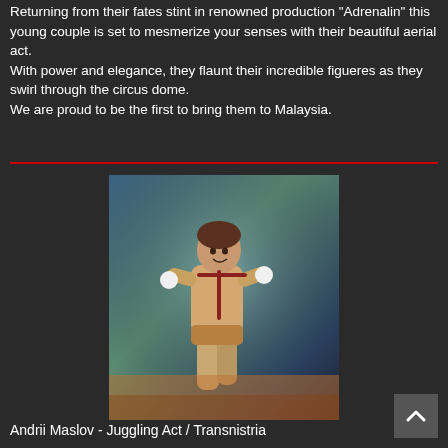Returning from their fates stint in renowned production "Adrenalin" this young couple is set to mesmerize your senses with their beautiful aerial act. With power and elegance, they flaunt their incredible figueres as they swirl through the circus dome. We are proud to be the first to bring them to Malaysia.
[Figure (photo): A male circus performer (Andrii Maslov) in a juggling act pose, wearing a performance costume, photographed against a colorful blurred background.]
Andrii Maslov - Juggling Act / Transnistria